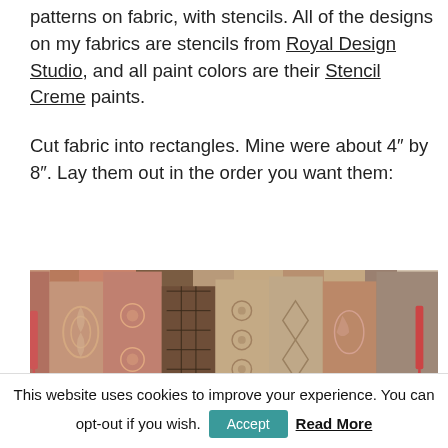patterns on fabric, with stencils. All of the designs on my fabrics are stencils from Royal Design Studio, and all paint colors are their Stencil Creme paints.

Cut fabric into rectangles. Mine were about 4" by 8". Lay them out in the order you want them:
[Figure (photo): A row of fabric rectangles laid out showing various stencil patterns in terracotta, brown, tan, and grey tones, with decorative ornamental and geometric designs.]
This website uses cookies to improve your experience. You can opt-out if you wish. Accept  Read More